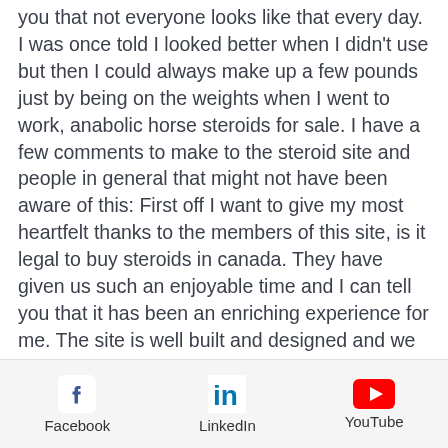you that not everyone looks like that every day. I was once told I looked better when I didn't use but then I could always make up a few pounds just by being on the weights when I went to work, anabolic horse steroids for sale. I have a few comments to make to the steroid site and people in general that might not have been aware of this: First off I want to give my most heartfelt thanks to the members of this site, is it legal to buy steroids in canada. They have given us such an enjoyable time and I can tell you that it has been an enriching experience for me. The site is well built and designed and we get an appreciable amount of satisfaction out of it at the end of the day, corticosteroid drugs list. I have to say that a lot of these forum members are doing what they're able to do without the guidance of someone like
Facebook  LinkedIn  YouTube